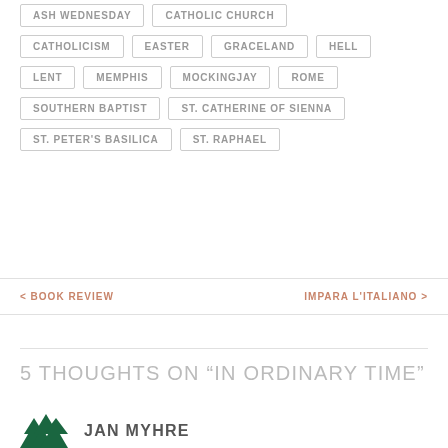ASH WEDNESDAY
CATHOLIC CHURCH
CATHOLICISM
EASTER
GRACELAND
HELL
LENT
MEMPHIS
MOCKINGJAY
ROME
SOUTHERN BAPTIST
ST. CATHERINE OF SIENNA
ST. PETER'S BASILICA
ST. RAPHAEL
< BOOK REVIEW
IMPARA L'ITALIANO >
5 THOUGHTS ON "IN ORDINARY TIME"
JAN MYHRE